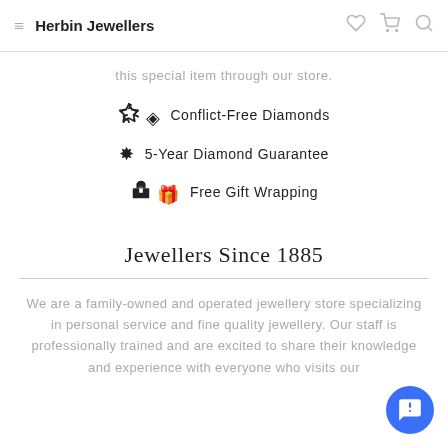Herbin Jewellers
this special item through our store.
Conflict-Free Diamonds
5-Year Diamond Guarantee
Free Gift Wrapping
Jewellers Since 1885
We are a family-owned and operated jewellery store specializing in personal service and fine quality jewellery. Our staff is professionally trained and are excited to share their knowledge and experience with everyone who visits our